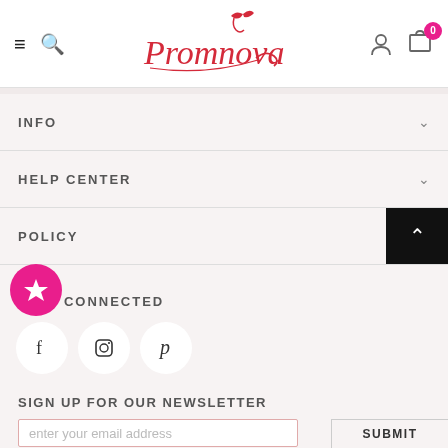Promnova - navigation header with logo, menu, user and cart icons
INFO
HELP CENTER
POLICY
STAY CONNECTED
[Figure (infographic): Social media icons: Facebook, Instagram, Pinterest in white circles]
SIGN UP FOR OUR NEWSLETTER
enter your email address
SUBMIT